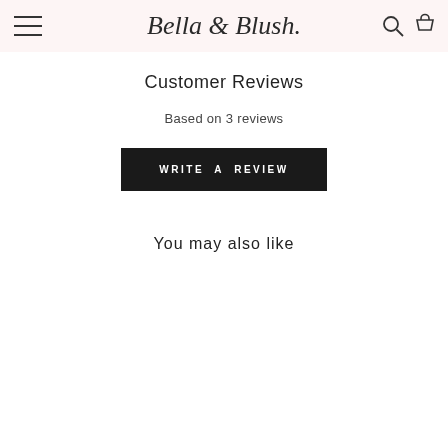Bella & Blush
Customer Reviews
Based on 3 reviews
WRITE A REVIEW
You may also like